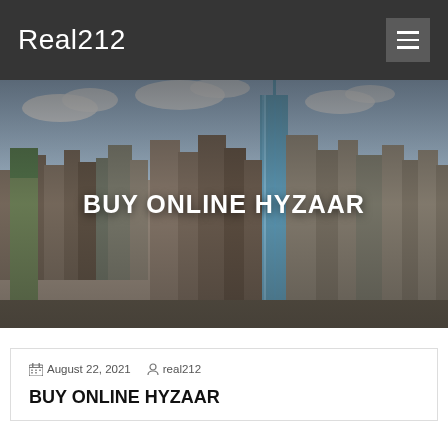Real212
[Figure (photo): City skyline photo showing skyscrapers including One World Trade Center against a partly cloudy sky, used as a hero banner background.]
BUY ONLINE HYZAAR
August 22, 2021   real212
BUY ONLINE HYZAAR